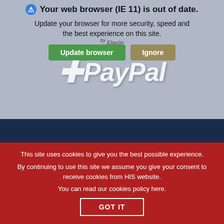[Figure (screenshot): Browser out-of-date warning banner with blue icon, update browser and ignore buttons, and PayPal + Elavon logo overlay on grey background]
Privacy Policy
Terms and Conditions
[Figure (logo): ISO 9001 Quality Management certification badge with UKAS logo]
[Figure (logo): ISO 14001 certification badge with UKAS logo]
This site uses cookies to give you the best possible experience. By continuing to use this site we assume you give your consent to receive cookies from HIS website. You can read our cookies policy here.
GOT IT